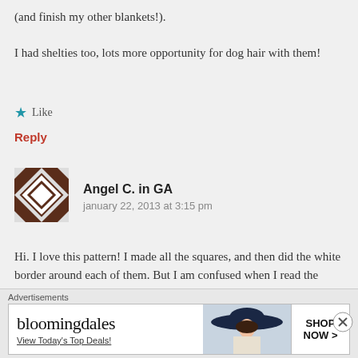(and finish my other blankets!). I had shelties too, lots more opportunity for dog hair with them!
Like
Reply
[Figure (illustration): User avatar: geometric pattern in brown and white diamond shapes]
Angel C. in GA
january 22, 2013 at 3:15 pm
Hi. I love this pattern! I made all the squares, and then did the white border around each of them. But I am confused when I read the
[Figure (other): Bloomingdales advertisement banner: View Today's Top Deals! with woman in wide-brim hat and SHOP NOW > button]